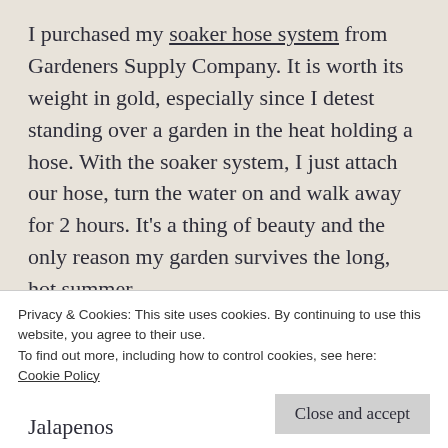I purchased my soaker hose system from Gardeners Supply Company. It is worth its weight in gold, especially since I detest standing over a garden in the heat holding a hose. With the soaker system, I just attach our hose, turn the water on and walk away for 2 hours. It's a thing of beauty and the only reason my garden survives the long, hot summer.
Vegetable and Herbs in my grow beds and garden had this year:
Jalapenos
Privacy & Cookies: This site uses cookies. By continuing to use this website, you agree to their use.
To find out more, including how to control cookies, see here: Cookie Policy